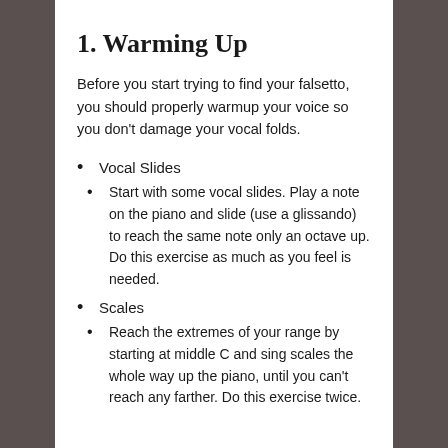1. Warming Up
Before you start trying to find your falsetto, you should properly warmup your voice so you don't damage your vocal folds.
Vocal Slides
Start with some vocal slides. Play a note on the piano and slide (use a glissando) to reach the same note only an octave up. Do this exercise as much as you feel is needed.
Scales
Reach the extremes of your range by starting at middle C and sing scales the whole way up the piano, until you can't reach any farther. Do this exercise twice.